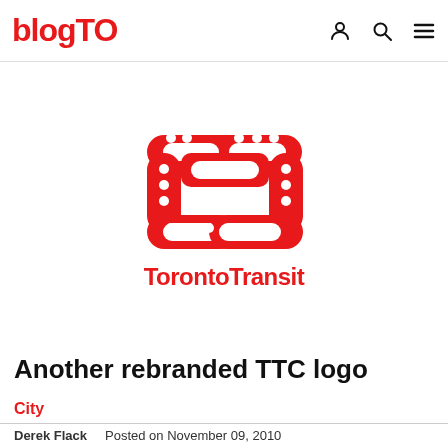blogTO
[Figure (logo): Toronto Transit Commission rebranded logo concept: a red stylized T shape made of circuit-board-like paths with dots, above the text 'Toronto Transit' in bold red]
Another rebranded TTC logo
City
Derek Flack   Posted on November 09, 2010